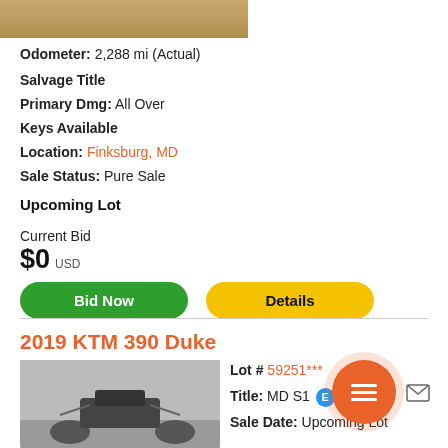[Figure (photo): Partial vehicle photo at top of page, cropped]
Odometer: 2,288 mi (Actual)
Salvage Title
Primary Dmg: All Over
Keys Available
Location: Finksburg, MD
Sale Status: Pure Sale
Upcoming Lot
Current Bid
$0 USD
Bid Now
Details
2019 KTM 390 Duke
Lot # 59251***
Title: MD S1
Sale Date: Upcoming Lot
[Figure (photo): Photo of 2019 KTM 390 Duke motorcycle parked outside]